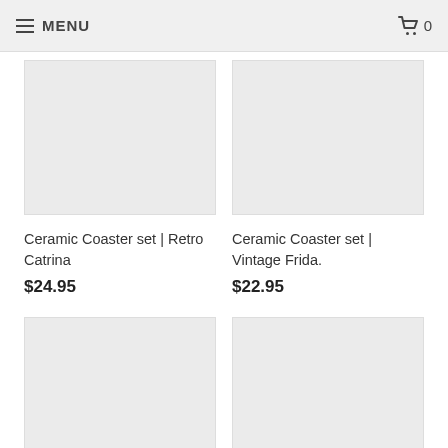MENU  🛒 0
[Figure (photo): Product image placeholder (light gray rectangle) for Ceramic Coaster set | Retro Catrina]
Ceramic Coaster set | Retro Catrina
$24.95
[Figure (photo): Product image placeholder (light gray rectangle) for Ceramic Coaster set | Vintage Frida.]
Ceramic Coaster set | Vintage Frida.
$22.95
[Figure (photo): Product image placeholder (light gray rectangle), bottom-left product]
[Figure (photo): Product image placeholder (light gray rectangle), bottom-right product]